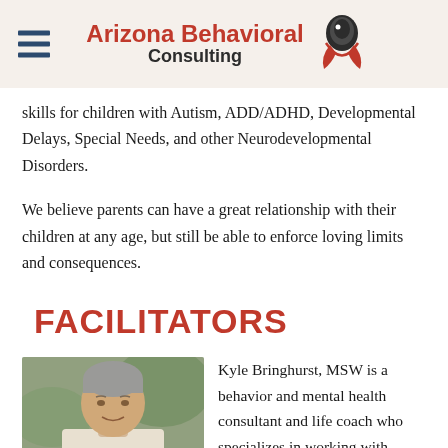Arizona Behavioral Consulting
skills for children with Autism, ADD/ADHD, Developmental Delays, Special Needs, and other Neurodevelopmental Disorders.
We believe parents can have a great relationship with their children at any age, but still be able to enforce loving limits and consequences.
FACILITATORS
[Figure (photo): Headshot of Kyle Bringhurst, MSW — a man with short gray hair, photographed outdoors.]
Kyle Bringhurst, MSW is a behavior and mental health consultant and life coach who specializes in working with